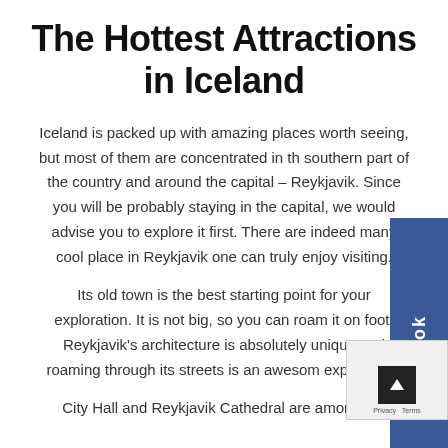The Hottest Attractions in Iceland
Iceland is packed up with amazing places worth seeing, but most of them are concentrated in the southern part of the country and around the capital – Reykjavik. Since you will be probably staying in the capital, we would advise you to explore it first. There are indeed many cool places in Reykjavik one can truly enjoy visiting.
Its old town is the best starting point for your exploration. It is not big, so you can roam it on foot. Reykjavik's architecture is absolutely unique and roaming through its streets is an awesome experience.
City Hall and Reykjavik Cathedral are among the
[Figure (other): Facebook social media tab button on the right side of the page, dark blue background with white 'facebook' text rotated vertically]
[Figure (other): reCAPTCHA widget and scroll-to-top button in the bottom right corner, with Privacy and Terms links]